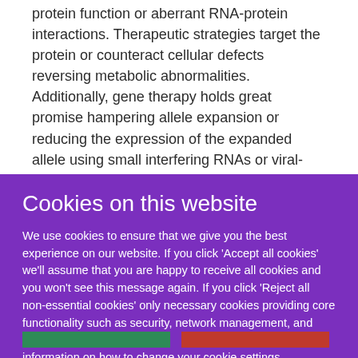protein function or aberrant RNA-protein interactions. Therapeutic strategies target the protein or counteract cellular defects reversing metabolic abnormalities. Additionally, gene therapy holds great promise hampering allele expansion or reducing the expression of the expanded allele using small interfering RNAs or viral-mediated approaches. Although much effort has been devoted to understanding the full disease
Cookies on this website
We use cookies to ensure that we give you the best experience on our website. If you click 'Accept all cookies' we'll assume that you are happy to receive all cookies and you won't see this message again. If you click 'Reject all non-essential cookies' only necessary cookies providing core functionality such as security, network management, and accessibility will be enabled. Click 'Find out more' for information on how to change your cookie settings.